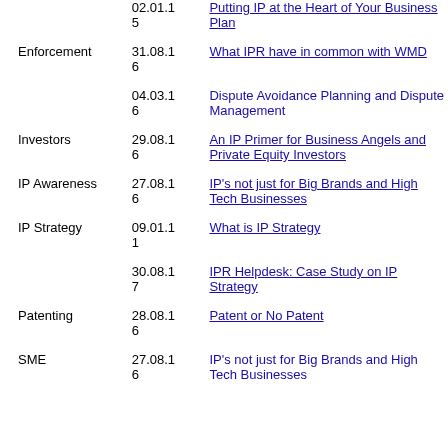| Category | Date | Title |
| --- | --- | --- |
|  | 02.01.15 | Putting IP at the Heart of Your Business Plan |
| Enforcement | 31.08.16 | What IPR have in common with WMD |
|  | 04.03.16 | Dispute Avoidance Planning and Dispute Management |
| Investors | 29.08.16 | An IP Primer for Business Angels and Private Equity Investors |
| IP Awareness | 27.08.16 | IP's not just for Big Brands and High Tech Businesses |
| IP Strategy | 09.01.11 | What is IP Strategy |
|  | 30.08.17 | IPR Helpdesk: Case Study on IP Strategy |
| Patenting | 28.08.16 | Patent or No Patent |
| SME | 27.08.16 | IP's not just for Big Brands and High Tech Businesses |